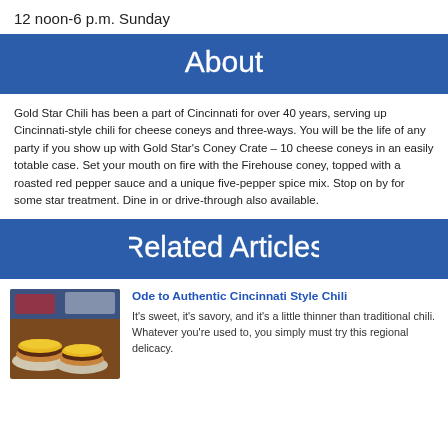12 noon-6 p.m. Sunday
About
Gold Star Chili has been a part of Cincinnati for over 40 years, serving up Cincinnati-style chili for cheese coneys and three-ways. You will be the life of any party if you show up with Gold Star's Coney Crate – 10 cheese coneys in an easily totable case. Set your mouth on fire with the Firehouse coney, topped with a roasted red pepper sauce and a unique five-pepper spice mix. Stop on by for some star treatment. Dine in or drive-through also available.
Related Articles
[Figure (photo): Photo of Cincinnati chili cheese coneys on plates, showing yellow shredded cheese on top of chili-covered hot dogs in buns]
Ode to Authentic Cincinnati Style Chili
It's sweet, it's savory, and it's a little thinner than traditional chili. Whatever you're used to, you simply must try this regional delicacy.